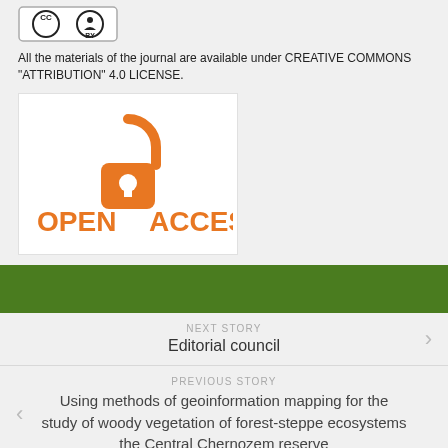[Figure (logo): Creative Commons BY logo badge]
All the materials of the journal are available under CREATIVE COMMONS "ATTRIBUTION" 4.0 LICENSE.
[Figure (logo): Open Access logo with orange padlock icon and text OPEN ACCESS]
NEXT STORY
Editorial council
PREVIOUS STORY
Using methods of geoinformation mapping for the study of woody vegetation of forest-steppe ecosystems the Central Chernozem reserve